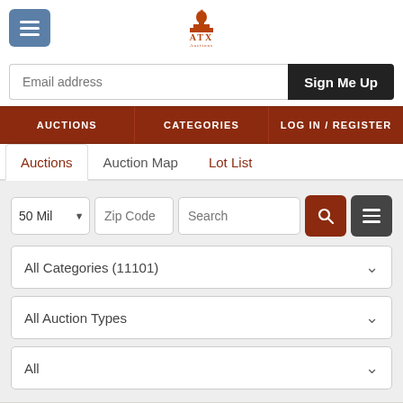[Figure (logo): ATX Auctions logo with a Texas capitol building icon in orange/brown color]
Email address
Sign Me Up
AUCTIONS | CATEGORIES | LOG IN / REGISTER
Auctions | Auction Map | Lot List
50 Mil | Zip Code | Search
All Categories (11101)
All Auction Types
All